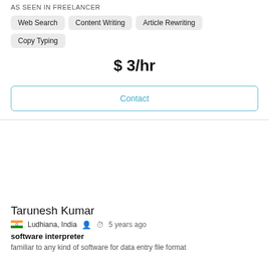AS SEEN IN FREELANCER
Web Search
Content Writing
Article Rewriting
Copy Typing
$ 3/hr
Contact
Tarunesh Kumar
Ludhiana, India   5 years ago
software interpreter
familiar to any kind of software for data entry file format